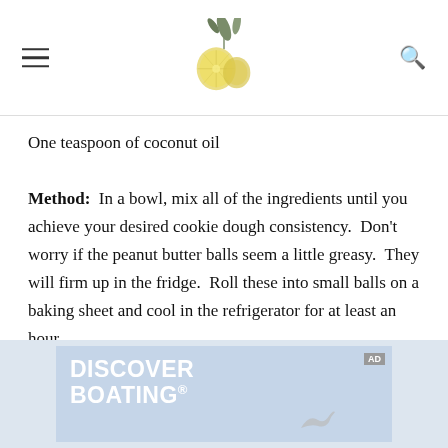[Logo: lemon/citrus illustration with leaves] [Hamburger menu icon] [Search icon]
One teaspoon of coconut oil
Method:  In a bowl, mix all of the ingredients until you achieve your desired cookie dough consistency.  Don't worry if the peanut butter balls seem a little greasy.  They will firm up in the fridge.  Roll these into small balls on a baking sheet and cool in the refrigerator for at least an hour.
[Figure (screenshot): Advertisement banner showing 'DISCOVER BOATING' text in white on a light blue background, with a bird silhouette and an 'AD' badge in the corner.]